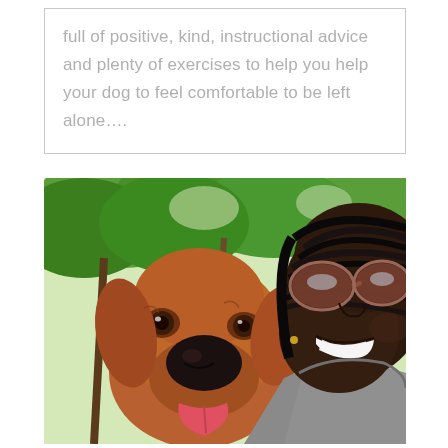full of positive, kind, instructional advice and plenty of exercises to help you help your dog to feel comfortable to be left alone….
[Figure (photo): Selfie photo of a smiling woman with braided hair and sunglasses cheek-to-cheek with a brown/golden dog (appears to be a Redbone Coonhound or similar breed) with its tongue out, taken outdoors with green trees visible in the background.]